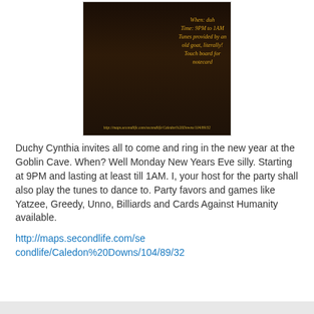[Figure (photo): Dark tavern scene screenshot from Second Life with a character wearing a party hat. Overlaid text reads: When: duh / Time: 9PM to 1AM / Tunes provided by an old goat, literally! / Touch board for notecard. URL at bottom: http://maps.secondlife.com/secondlife/Caledon%20Downs/104/89/32]
Duchy Cynthia invites all to come and ring in the new year at the Goblin Cave. When? Well Monday New Years Eve silly. Starting at 9PM and lasting at least till 1AM. I, your host for the party shall also play the tunes to dance to. Party favors and games like Yatzee, Greedy, Unno, Billiards and Cards Against Humanity available.
http://maps.secondlife.com/secondlife/Caledon%20Downs/104/89/32